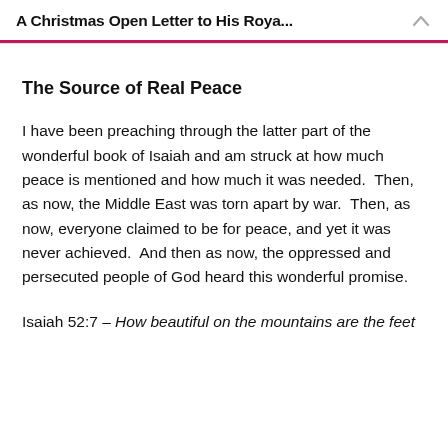A Christmas Open Letter to His Roya...
The Source of Real Peace
I have been preaching through the latter part of the wonderful book of Isaiah and am struck at how much peace is mentioned and how much it was needed. Then, as now, the Middle East was torn apart by war. Then, as now, everyone claimed to be for peace, and yet it was never achieved. And then as now, the oppressed and persecuted people of God heard this wonderful promise.
Isaiah 52:7 – How beautiful on the mountains are the feet